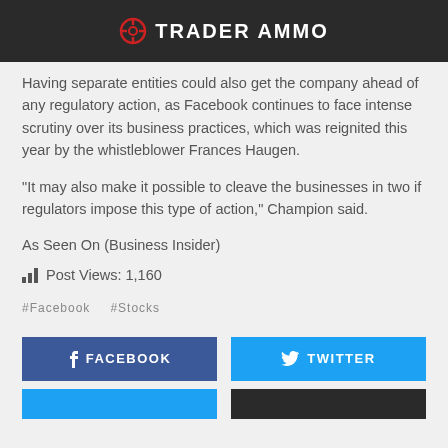TRADER AMMO
Having separate entities could also get the company ahead of any regulatory action, as Facebook continues to face intense scrutiny over its business practices, which was reignited this year by the whistleblower Frances Haugen.
“It may also make it possible to cleave the businesses in two if regulators impose this type of action,” Champion said.
As Seen On (Business Insider)
Post Views: 1,160
#Facebook   #Stocks